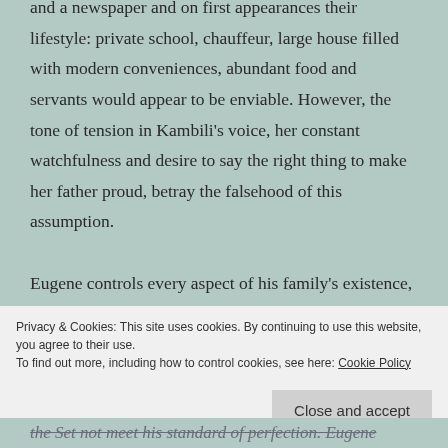and a newspaper and on first appearances their lifestyle: private school, chauffeur, large house filled with modern conveniences, abundant food and servants would appear to be enviable. However, the tone of tension in Kambili's voice, her constant watchfulness and desire to say the right thing to make her father proud, betray the falsehood of this assumption.

Eugene controls every aspect of his family's existence, the children's lives are scheduled by the minute, they are expected to come top of the class without excuses,
Privacy & Cookies: This site uses cookies. By continuing to use this website, you agree to their use.
To find out more, including how to control cookies, see here: Cookie Policy
the Set not meet his standard of perfection. Eugene